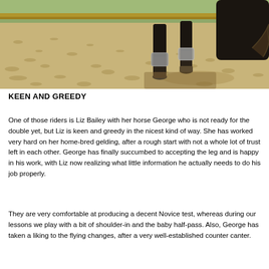[Figure (photo): Close-up photo of a horse's legs standing on a sandy arena surface. The horse has dark legs with silver/metallic leg boots/wraps. Gravel and sand footing visible, with a wooden fence and green grass in the background.]
KEEN AND GREEDY
One of those riders is Liz Bailey with her horse George who is not ready for the double yet, but Liz is keen and greedy in the nicest kind of way. She has worked very hard on her home-bred gelding, after a rough start with not a whole lot of trust left in each other. George has finally succumbed to accepting the leg and is happy in his work, with Liz now realizing what little information he actually needs to do his job properly.
They are very comfortable at producing a decent Novice test, whereas during our lessons we play with a bit of shoulder-in and the baby half-pass. Also, George has taken a liking to the flying changes, after a very well-established counter canter.